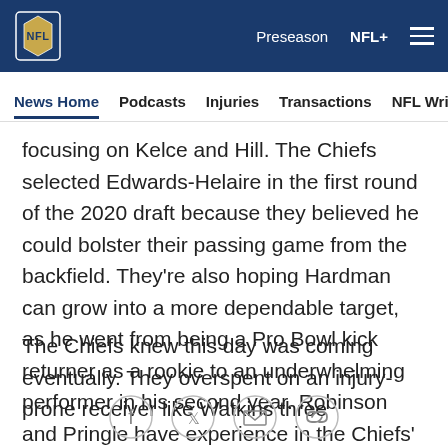NFL — Preseason   NFL+   ☰
News Home   Podcasts   Injuries   Transactions   NFL Writers   Se
focusing on Kelce and Hill. The Chiefs selected Edwards-Helaire in the first round of the 2020 draft because they believed he could bolster their passing game from the backfield. They're also hoping Hardman can grow into a more dependable target, as he went from being a Pro Bowl kick returner as a rookie to an underwhelming performer in his second year. Robinson and Pringle have experience in the Chiefs' offense, but the most they've shown are flashes of potential.
The Chiefs knew this day was coming eventually. They overspent on an injury-prone receiver like Watkins three
Social share icons: Facebook, Twitter, Mail, Link